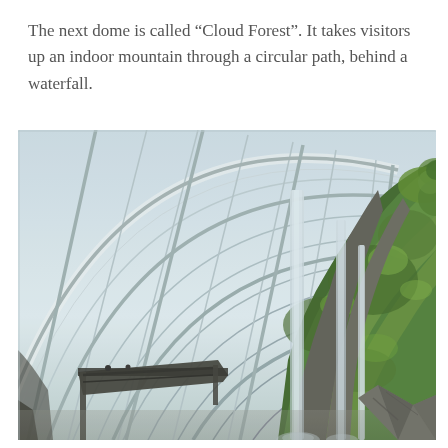The next dome is called “Cloud Forest”. It takes visitors up an indoor mountain through a circular path, behind a waterfall.
[Figure (photo): Interior photograph of the Cloud Forest dome in Singapore's Gardens by the Bay, showing a tall indoor mountain covered in lush green vegetation with waterfalls cascading down the sides, enclosed by a large arching glass and steel greenhouse structure.]